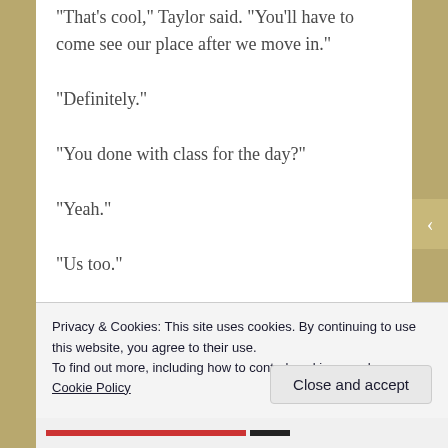“That’s cool,” Taylor said. “You’ll have to come see our place after we move in.”
“Definitely.”
“You done with class for the day?”
“Yeah.”
“Us too.”
“I really need to go upstairs and use the
Privacy & Cookies: This site uses cookies. By continuing to use this website, you agree to their use.
To find out more, including how to control cookies, see here: Cookie Policy
Close and accept